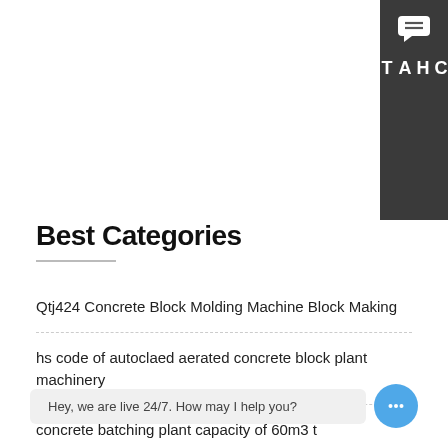[Figure (other): Dark grey vertical chat widget on top-right corner with speech bubble icon and 'CHAT' text written vertically]
Best Categories
Qtj424 Concrete Block Molding Machine Block Making
hs code of autoclaed aerated concrete block plant machinery
concrete batching plant capacity of 60m3 t
Choosing the Righ Magazine
Hey, we are live 24/7. How may I help you?